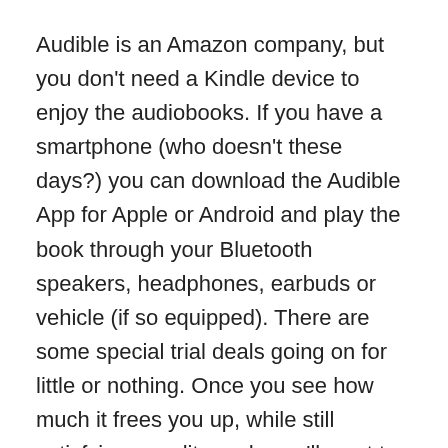Audible is an Amazon company, but you don't need a Kindle device to enjoy the audiobooks. If you have a smartphone (who doesn't these days?) you can download the Audible App for Apple or Android and play the book through your Bluetooth speakers, headphones, earbuds or vehicle (if so equipped). There are some special trial deals going on for little or nothing. Once you see how much it frees you up, while still satisfying your lit needs you'll want to sign up for it. You get one free download per month and discounts on other purchases throughout the period. What I have discovered is that I can listen to an average length book in a day or so, while doing menial things like laundry, cleaning the house, riding my bike, taking a walk, just about anything.
Author Rose Montague has been an early adopter of the